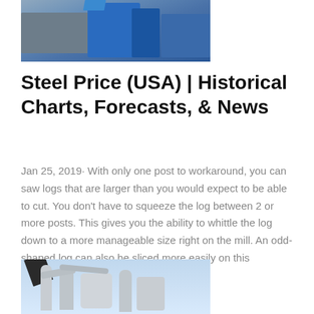[Figure (photo): Industrial blue machinery/dust collector equipment photo at top of page]
Steel Price (USA) | Historical Charts, Forecasts, & News
Jan 25, 2019· With only one post to workaround, you can saw logs that are larger than you would expect to be able to cut. You don't have to squeeze the log between 2 or more posts. This gives you the ability to whittle the log down to a more manageable size right on the mill. An odd-shaped log can also be sliced more easily on this cantilever design.
[Figure (photo): Industrial grinding/milling equipment with pipes and cyclones against blue sky]